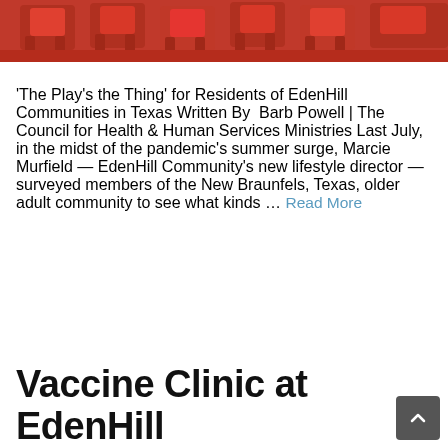[Figure (photo): Partial view of red chairs from above, cropped at top of page]
'The Play's the Thing' for Residents of EdenHill Communities in Texas Written By  Barb Powell | The Council for Health & Human Services Ministries Last July, in the midst of the pandemic's summer surge, Marcie Murfield — EdenHill Community's new lifestyle director — surveyed members of the New Braunfels, Texas, older adult community to see what kinds … Read More
Vaccine Clinic at EdenHill